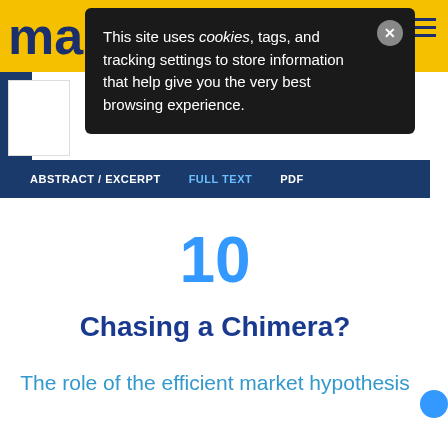manche... ope...
This site uses cookies, tags, and tracking settings to store information that help give you the very best browsing experience.
ABSTRACT / EXCERPT   FULL TEXT   PDF
10
Chasing a Chimera?
The role of the efficient market hypothesis